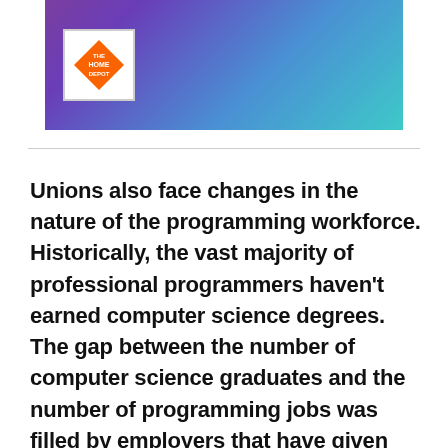[Figure (logo): The Home Depot logo on a purple-to-teal gradient banner background]
Unions also face changes in the nature of the programming workforce. Historically, the vast majority of professional programmers haven't earned computer science degrees. The gap between the number of computer science graduates and the number of programming jobs was filled by employers that have given on-the-job training in programming to people from other fields. Also, employers have available a huge supply of imported foreign workers who have received basic computer training. In fact, a